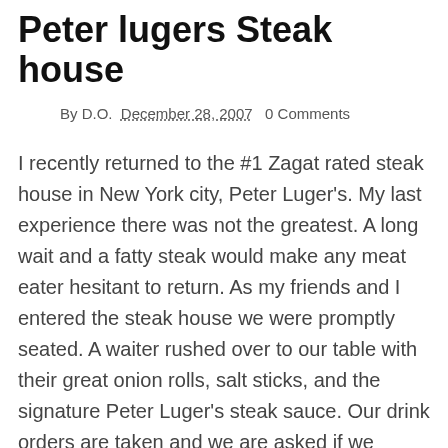Peter lugers Steak house
By D.O.  December 28, 2007  0 Comments
I recently returned to the #1 Zagat rated steak house in New York city, Peter Luger's. My last experience there was not the greatest. A long wait and a fatty steak would make any meat eater hesitant to return. As my friends and I entered the steak house we were promptly seated. A waiter rushed over to our table with their great onion rolls, salt sticks, and the signature Peter Luger's steak sauce. Our drink orders are taken and we are asked if we would like to see some menu's. Considering that my friends and I are Peter Luger's veterans we waved away the menus and quickly gave our orders. A Caesar salad , steak for 3, hash browns,